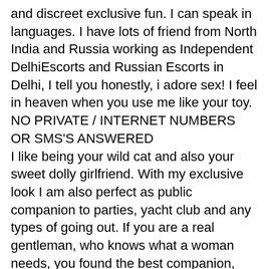and discreet exclusive fun. I can speak in languages. I have lots of friend from North India and Russia working as Independent DelhiEscorts and Russian Escorts in Delhi, I tell you honestly, i adore sex! I feel in heaven when you use me like your toy.
NO PRIVATE / INTERNET NUMBERS OR SMS'S ANSWERED
I like being your wild cat and also your sweet dolly girlfriend. With my exclusive look I am also perfect as public companion to parties, yacht club and any types of going out. If you are a real gentleman, who knows what a woman needs, you found the best companion, because i know, what a gentleman needs. Do not hesitate!
Hey Hello everyone and welcome Connaught Place Escorts Whatsapp Number there you can getting genuine was you should also know that this super healthy